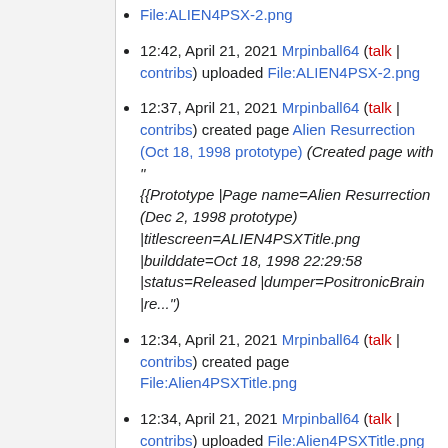File:ALIEN4PSX-2.png
12:42, April 21, 2021 Mrpinball64 (talk | contribs) uploaded File:ALIEN4PSX-2.png
12:37, April 21, 2021 Mrpinball64 (talk | contribs) created page Alien Resurrection (Oct 18, 1998 prototype) (Created page with "{{Prototype |Page name=Alien Resurrection (Dec 2, 1998 prototype) |titlescreen=ALIEN4PSXTitle.png |builddate=Oct 18, 1998 22:29:58 |status=Released |dumper=PositronicBrain |re...")
12:34, April 21, 2021 Mrpinball64 (talk | contribs) created page File:Alien4PSXTitle.png
12:34, April 21, 2021 Mrpinball64 (talk | contribs) uploaded File:Alien4PSXTitle.png